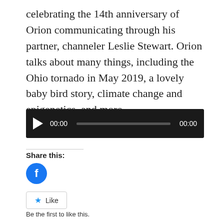celebrating the 14th anniversary of Orion communicating through his partner, channeler Leslie Stewart. Orion talks about many things, including the Ohio tornado in May 2019, a lovely baby bird story, climate change and epigenetics, and more.
[Figure (other): Audio player widget with black background, play button, time display showing 00:00, progress bar, and end time 00:00]
Share this:
[Figure (other): Facebook share icon — blue circle with white Facebook 'f' logo]
[Figure (other): Like button with blue star icon and 'Like' text in a rounded rectangle border]
Be the first to like this.